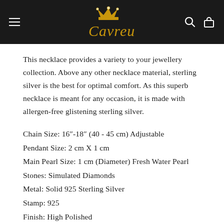Cavreu — navigation header with hamburger menu, logo, search and cart icons
This necklace provides a variety to your jewellery collection. Above any other necklace material, sterling silver is the best for optimal comfort. As this superb necklace is meant for any occasion, it is made with allergen-free glistening sterling silver.
Chain Size: 16"-18" (40 - 45 cm) Adjustable
Pendant Size: 2 cm X 1 cm
Main Pearl Size: 1 cm (Diameter) Fresh Water Pearl
Stones: Simulated Diamonds
Metal: Solid 925 Sterling Silver
Stamp: 925
Finish: High Polished